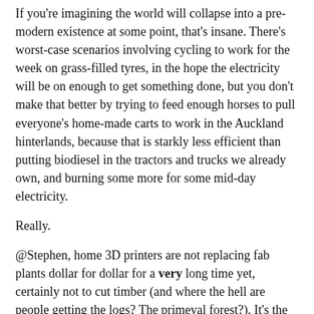If you're imagining the world will collapse into a pre-modern existence at some point, that's insane. There's worst-case scenarios involving cycling to work for the week on grass-filled tyres, in the hope the electricity will be on enough to get something done, but you don't make that better by trying to feed enough horses to pull everyone's home-made carts to work in the Auckland hinterlands, because that is starkly less efficient than putting biodiesel in the tractors and trucks we already own, and burning some more for some mid-day electricity.
Really.
@Stephen, home 3D printers are not replacing fab plants dollar for dollar for a very long time yet, certainly not to cut timber (and where the hell are people getting the logs? The primeval forest?). It's the materials, eh, not everything is a primitive sliding tube made of ludicrously expensive easy-melt alloys, and some things are extremely large or even made of materials that react with each other at high temperatures.